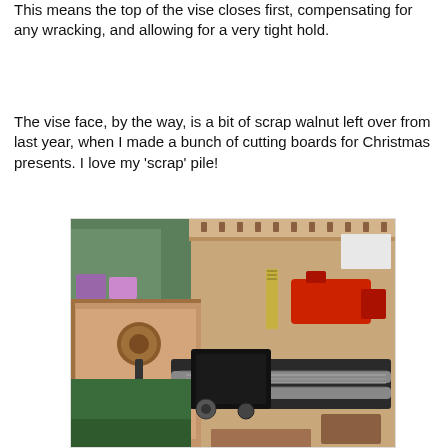This means the top of the vise closes first, compensating for any wracking, and allowing for a very tight hold.
The vise face, by the way, is a bit of scrap walnut left over from last year, when I made a bunch of cutting boards for Christmas presents. I love my 'scrap' pile!
[Figure (photo): A workshop photo showing a wooden workbench vise with a metal screw mechanism, wooden jaws, and a round wooden handle knob. Various tools including a red cordless drill, saw, and other items are visible on the workbench in the background. The floor appears to be green carpeted.]